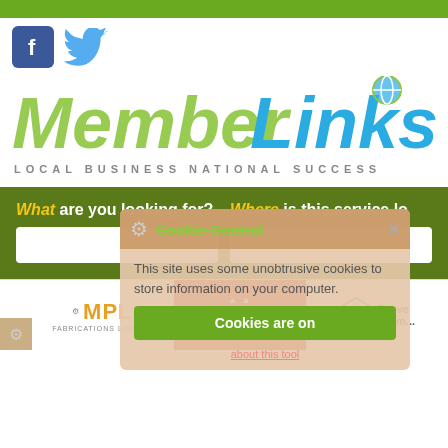[Figure (logo): MemberLinks logo with social icons (Facebook and Twitter) and tagline LOCAL BUSINESS NATIONAL SUCCESS]
What are you looking for?
Where is this service lo...
[Figure (screenshot): Cookie Control overlay: This site uses some unobtrusive cookies to store information on your computer. Cookies are on. about this tool.]
[Figure (logo): MPL Fabrications Limited logo]
[Figure (logo): AGRA logo on red background]
[Figure (logo): Proven Forms logo (partial)]